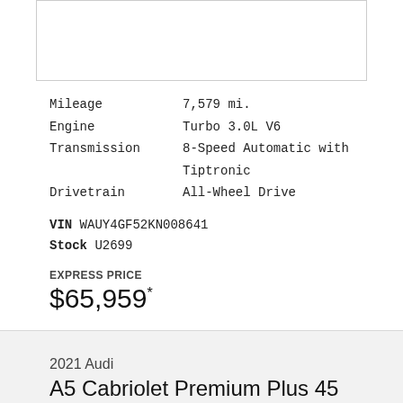[Figure (photo): Car image placeholder box (white rectangle with border)]
| Mileage | 7,579 mi. |
| Engine | Turbo 3.0L V6 |
| Transmission | 8-Speed Automatic with Tiptronic |
| Drivetrain | All-Wheel Drive |
VIN WAUY4GF52KN008641
Stock U2699
EXPRESS PRICE
$65,959*
2021 Audi
A5 Cabriolet Premium Plus 45 TFSI quattro
NEED HELP?